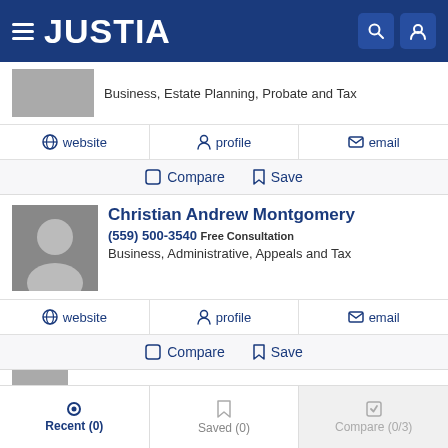JUSTIA
Business, Estate Planning, Probate and Tax
website  profile  email
Compare  Save
Christian Andrew Montgomery
(559) 500-3540 Free Consultation
Business, Administrative, Appeals and Tax
website  profile  email
Compare  Save
Recent (0)  Saved (0)  Compare (0/3)